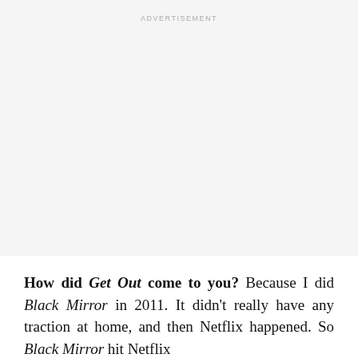ADVERTISEMENT
How did Get Out come to you? Because I did Black Mirror in 2011. It didn't really have any traction at home, and then Netflix happened. So Black Mirror hit Netflix